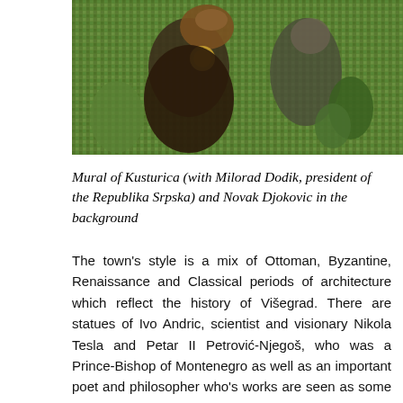[Figure (photo): Mosaic mural photograph showing figures against a green mosaic background, partially cropped]
Mural of Kusturica (with Milorad Dodik, president of the Republika Srpska) and Novak Djokovic in the background
The town's style is a mix of Ottoman, Byzantine, Renaissance and Classical periods of architecture which reflect the history of Višegrad. There are statues of Ivo Andric, scientist and visionary Nikola Tesla and Petar II Petrović-Njegoš, who was a Prince-Bishop of Montenegro as well as an important poet and philosopher who's works are seen as some of the most significant in Montenegrin and Serbian literature. In addition to his literary talents, Njegoš is seen as one of the fathers of the modern Montenegrin state and Kingdom of Montenegro, and